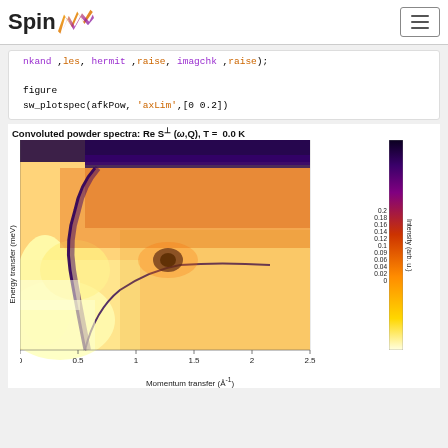SpinW
nkand ,les, hermit ,raise, imagchk ,raise);
figure
sw_plotspec(afkPow, 'axLim',[0 0.2])
[Figure (continuous-plot): 2D false-color (heatmap) plot of inelastic neutron scattering powder spectra. X-axis: Momentum transfer 0 to 2.5 Å⁻¹. Y-axis: Energy transfer 0 to ~2.5 meV. Colormap from yellow (low intensity ~0) through orange to dark purple (high intensity ~0.2 arb. u.). Shows dispersive spin-wave features with strong intensity at low Q and around 2.3 meV, and a secondary feature near Q=1.3 Å⁻¹ at ~1.4 meV.]